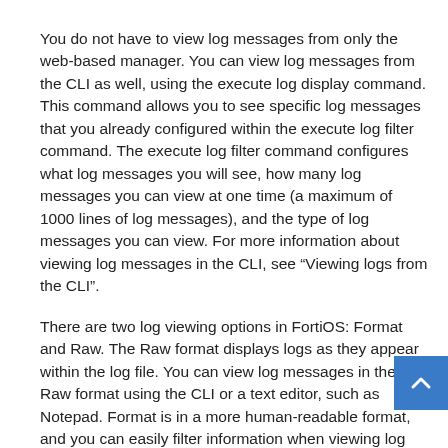You do not have to view log messages from only the web-based manager. You can view log messages from the CLI as well, using the execute log display command. This command allows you to see specific log messages that you already configured within the execute log filter command. The execute log filter command configures what log messages you will see, how many log messages you can view at one time (a maximum of 1000 lines of log messages), and the type of log messages you can view. For more information about viewing log messages in the CLI, see “Viewing logs from the CLI”.
There are two log viewing options in FortiOS: Format and Raw. The Raw format displays logs as they appear within the log file. You can view log messages in the Raw format using the CLI or a text editor, such as Notepad. Format is in a more human-readable format, and you can easily filter information when viewing log messages this way. The Format view is what you see when viewing logs in the w based manager.